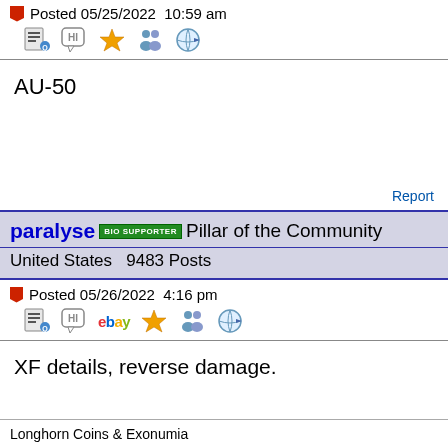Posted 05/25/2022  10:59 am
AU-50
Report
paralyse  BIO SUPPORTER  Pillar of the Community
United States   9483 Posts
Posted 05/26/2022  4:16 pm
XF details, reverse damage.
Longhorn Coins & Exonumia